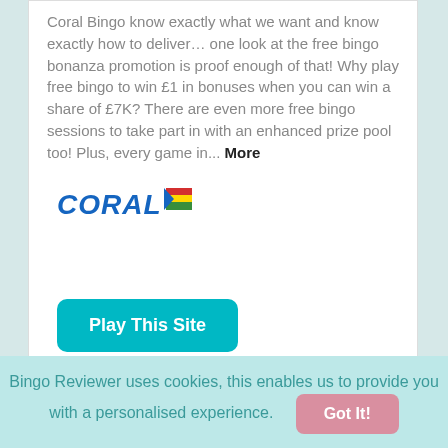Coral Bingo know exactly what we want and know exactly how to deliver… one look at the free bingo bonanza promotion is proof enough of that! Why play free bingo to win £1 in bonuses when you can win a share of £7K? There are even more free bingo sessions to take part in with an enhanced prize pool too! Plus, every game in... More
[Figure (logo): Coral logo in blue italic bold text with a small flag graphic]
[Figure (other): Play This Site button in teal/cyan with rounded corners]
Categorised Under: Bingo Promotions ,
Bingo Reviewer uses cookies, this enables us to provide you with a personalised experience. Got It!